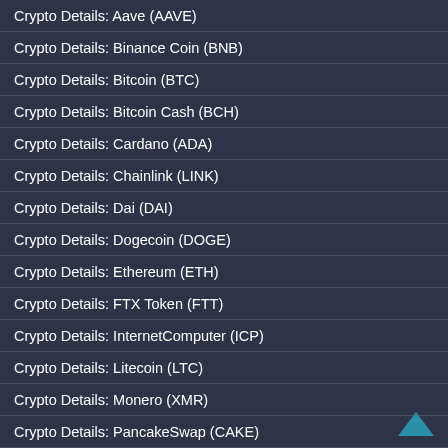Crypto Details: Aave (AAVE)
Crypto Details: Binance Coin (BNB)
Crypto Details: Bitcoin (BTC)
Crypto Details: Bitcoin Cash (BCH)
Crypto Details: Cardano (ADA)
Crypto Details: Chainlink (LINK)
Crypto Details: Dai (DAI)
Crypto Details: Dogecoin (DOGE)
Crypto Details: Ethereum (ETH)
Crypto Details: FTX Token (FTT)
Crypto Details: InternetComputer (ICP)
Crypto Details: Litecoin (LTC)
Crypto Details: Monero (XMR)
Crypto Details: PancakeSwap (CAKE)